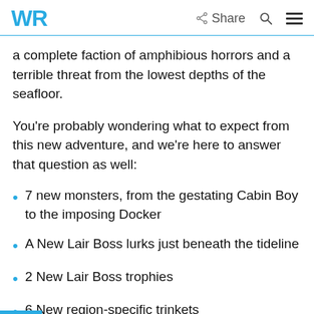WR  Share
a complete faction of amphibious horrors and a terrible threat from the lowest depths of the seafloor.
You're probably wondering what to expect from this new adventure, and we're here to answer that question as well:
7 new monsters, from the gestating Cabin Boy to the imposing Docker
A New Lair Boss lurks just beneath the tideline
2 New Lair Boss trophies
6 New region-specific trinkets